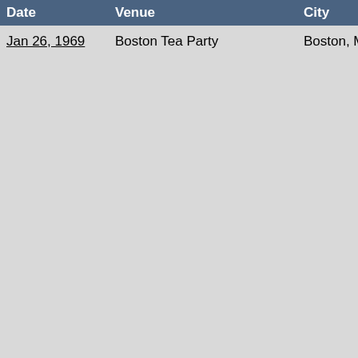| Date | Venue | City | Mode |
| --- | --- | --- | --- |
| Jan 26, 1969 | Boston Tea Party | Boston, MA | In Me |